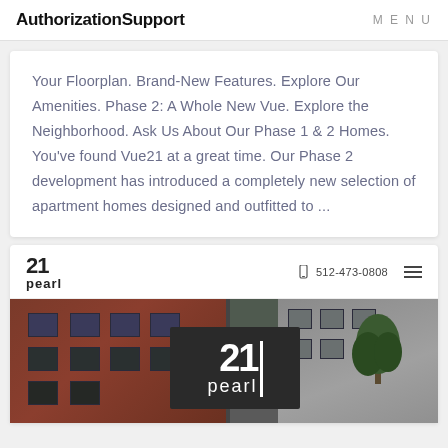AuthorizationSupport   MENU
Your Floorplan. Brand-New Features. Explore Our Amenities. Phase 2: A Whole New Vue. Explore the Neighborhood. Ask Us About Our Phase 1 & 2 Homes. You've found Vue21 at a great time. Our Phase 2 development has introduced a completely new selection of apartment homes designed and outfitted to ...
[Figure (screenshot): 21 pearl apartment website header with logo, phone number 512-473-0808, hamburger menu icon, and a photo of a brick apartment building with a large '21 pearl' sign visible]